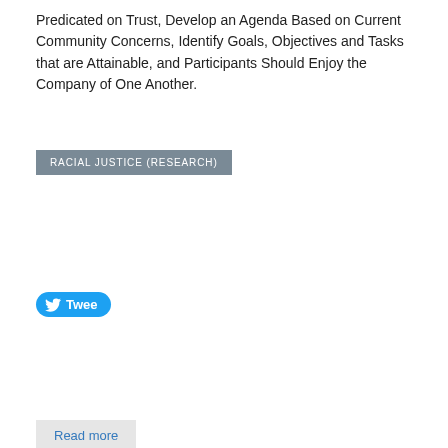Predicated on Trust, Develop an Agenda Based on Current Community Concerns, Identify Goals, Objectives and Tasks that are Attainable, and Participants Should Enjoy the Company of One Another.
RACIAL JUSTICE (RESEARCH)
[Figure (screenshot): Twitter Tweet button (blue rounded button with bird icon and 'Tweet' text)]
Read more
Millennials, Activism and Race
Source: Applied Research Center
[Figure (photo): Book cover for 'Millennials, Activism & Race' on grey background with circular arrow graphic]
By Dominique Apollan, Ph.D. Through a series of focus groups in key cities with Occupy participants and other activists aged 18-30, the